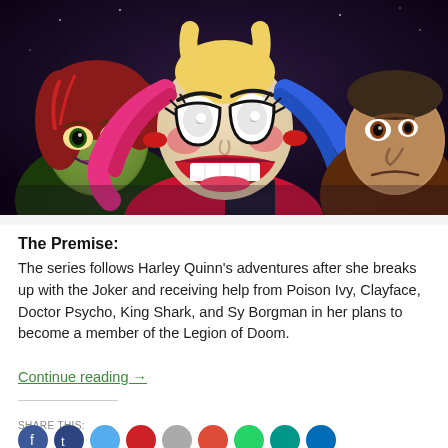[Figure (illustration): Animated illustration showing Harley Quinn in the center with wide eyes and an open smile, flanked by Poison Ivy on the left (green skin, red hair) and another villain on the right. Bold comic-book style colors: pink, blue, dark purple background.]
The Premise:
The series follows Harley Quinn’s adventures after she breaks up with the Joker and receiving help from Poison Ivy, Clayface, Doctor Psycho, King Shark, and Sy Borgman in her plans to become a member of the Legion of Doom.
Continue reading →
SHARE THIS:
[Figure (other): A row of circular social media share icons: Facebook (blue), Twitter/X (dark blue), light blue, red/Pinterest, grey, red/email, green, teal, dark blue.]